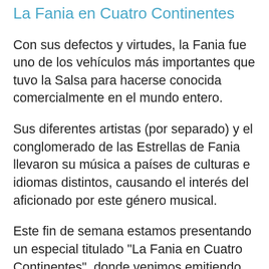La Fania en Cuatro Continentes
Con sus defectos y virtudes, la Fania fue uno de los vehículos más importantes que tuvo la Salsa para hacerse conocida comercialmente en el mundo entero.
Sus diferentes artistas (por separado) y el conglomerado de las Estrellas de Fania llevaron su música a países de culturas e idiomas distintos, causando el interés del aficionado por este género musical.
Este fin de semana estamos presentando un especial titulado "La Fania en Cuatro Continentes", donde venimos emitiendo algunas de las presentaciones que el All Stars ofreciera en distintos países de América...